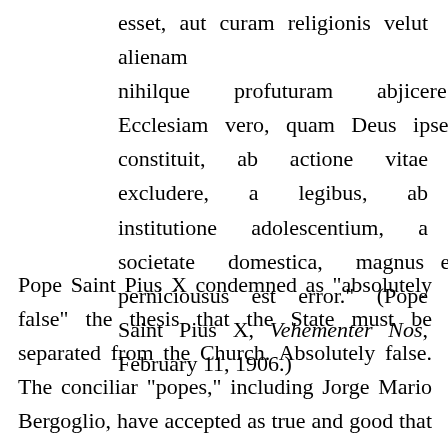esset, aut curam religionis velut alienam nihilque profuturam abjicere.... Ecclesiam vero, quam Deus ipse constituit, ab actione vitae excludere, a legibus, ab institutione adolescentium, a societate domestica, magnus et perniciousus est error." (Pope Saint Pius X, Vehementer Nos, February 11, 1906.)
Pope Saint Pius X condemned as "absolutely false" the thesis that the State must be separated from the Church. Absolutely false. The conciliar "popes," including Jorge Mario Bergoglio, have accepted as true and good that which a canonized pope, repeating the consistent teaching of the Catholic Church, which no one has any authority to contradict, condemned as absolutely false. Are you